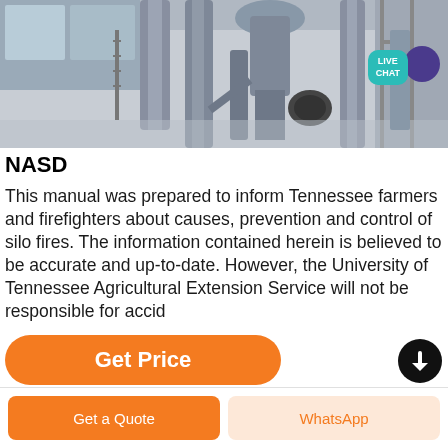[Figure (photo): Industrial facility interior with metal silos, pipes, conveyor equipment and machinery on a concrete floor. A 'LIVE CHAT' teal speech bubble overlay appears in the upper right corner.]
NASD
This manual was prepared to inform Tennessee farmers and firefighters about causes, prevention and control of silo fires. The information contained herein is believed to be accurate and up-to-date. However, the University of Tennessee Agricultural Extension Service will not be responsible for accid
Get Price
Get a Quote
WhatsApp